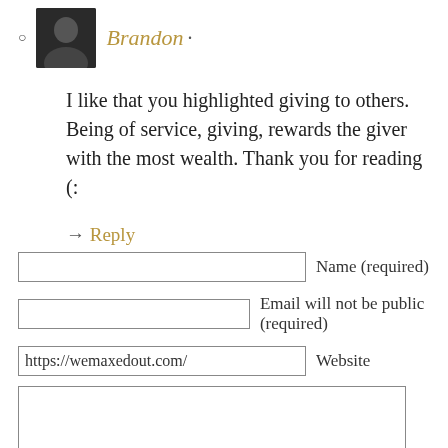Brandon ·
I like that you highlighted giving to others. Being of service, giving, rewards the giver with the most wealth. Thank you for reading (:
→ Reply
Name (required)
Email will not be public (required)
https://wemaxedout.com/  Website